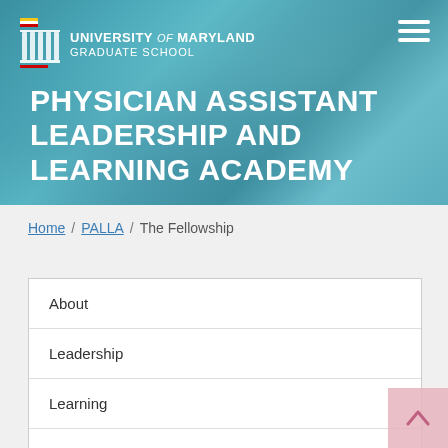[Figure (logo): University of Maryland Graduate School logo with columned building icon and flag]
PHYSICIAN ASSISTANT LEADERSHIP AND LEARNING ACADEMY
Home / PALLA / The Fellowship
About
Leadership
Learning
Community